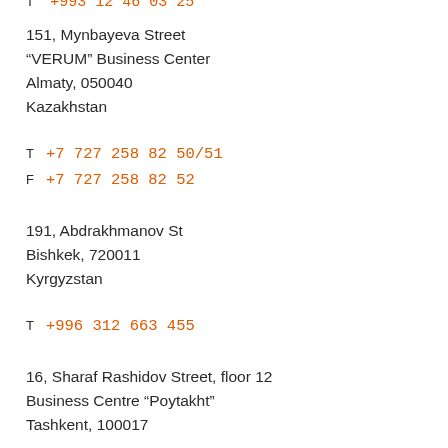T  +993 12 46 03 25
151, Mynbayeva Street
“VERUM” Business Center
Almaty, 050040
Kazakhstan
T  +7 727 258 82 50/51
F  +7 727 258 82 52
191, Abdrakhmanov St
Bishkek, 720011
Kyrgyzstan
T  +996 312 663 455
16, Sharaf Rashidov Street, floor 12
Business Centre “Poytakht”
Tashkent, 100017